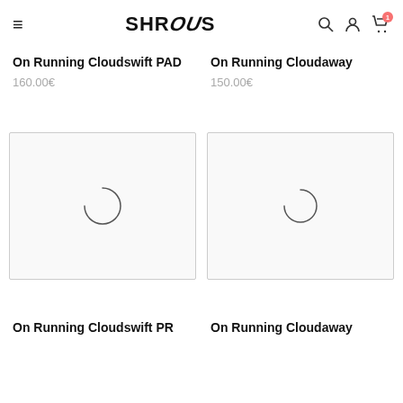SHROOS
On Running Cloudswift PAD
160.00€
On Running Cloudaway
150.00€
[Figure (photo): Product image placeholder with loading spinner circle for On Running Cloudswift PR]
[Figure (photo): Product image placeholder with loading spinner circle for On Running Cloudaway]
On Running Cloudswift PR
On Running Cloudaway